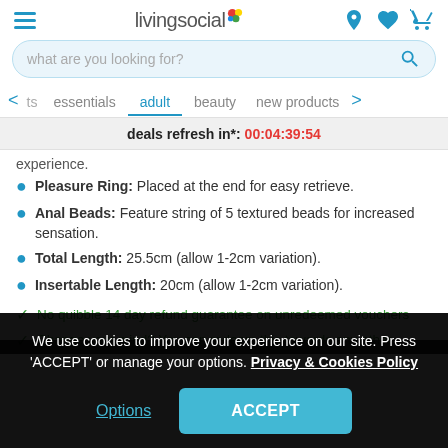[Figure (screenshot): LivingSocial mobile website header with hamburger menu, logo, search bar, navigation tabs, deals refresh timer, product bullet points, guarantee items, and cookie consent overlay.]
livingsocial
what are you looking for?
ts   essentials   adult   beauty   new products
deals refresh in*: 00:04:39:54
experience.
Pleasure Ring: Placed at the end for easy retrieve.
Anal Beads: Feature string of 5 textured beads for increased sensation.
Total Length: 25.5cm (allow 1-2cm variation).
Insertable Length: 20cm (allow 1-2cm variation).
No quibble 14 day refund guarantee on unredeemed vouchers
Change your mind? You can redeem this towards any other
We use cookies to improve your experience on our site. Press 'ACCEPT' or manage your options. Privacy & Cookies Policy
Options
ACCEPT